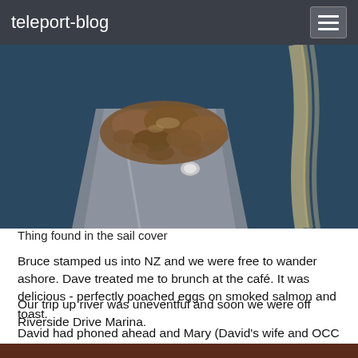teleport-blog
[Figure (photo): Close-up photo of crumbled brown material (rust or organic matter) found in a sail cover, resting on dark blue fabric with a grey strap visible]
Thing found in the sail cover
Bruce stamped us into NZ and we were free to wander ashore. Dave treated me to brunch at the café. It was delicious - perfectly poached eggs on smoked salmon and toast.
Our trip up river was uneventful and soon we were off Riverside Drive Marina.
David had phoned ahead and Mary (David's wife and OCC Port Officer) was waiting with Ulla, a Swedish friend from last year, Wendy and John (Midnight Sun - first met in Chile). Two ticks and Caramor was tied to her pontoon. Mary brought me flowers and strawberries (does life get any better?)